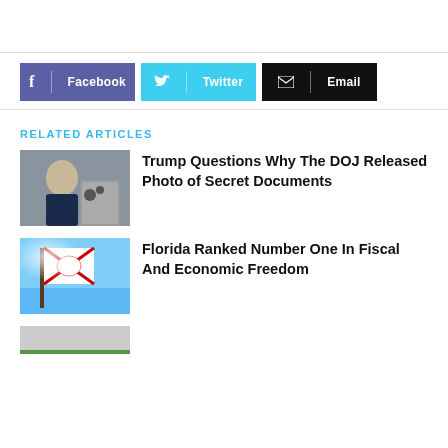[Figure (other): Social share buttons: Facebook (purple), Twitter (light blue), Email (black)]
RELATED ARTICLES
[Figure (photo): Photo of Trump speaking near cameras/press]
Trump Questions Why The DOJ Released Photo of Secret Documents
[Figure (photo): Photo of Florida state flag against blue sky]
Florida Ranked Number One In Fiscal And Economic Freedom
[Figure (photo): Partially visible photo at bottom (green tones)]